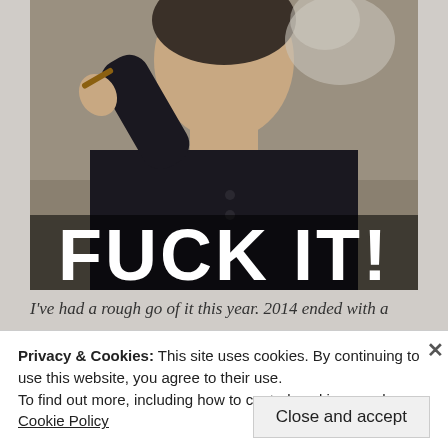[Figure (photo): Photo of a man in a black shirt smoking a cigar, with the text 'FUCK IT!' overlaid in large white bold capital letters at the bottom of the image.]
I've had a rough go of it this year. 2014 ended with a
Privacy & Cookies: This site uses cookies. By continuing to use this website, you agree to their use.
To find out more, including how to control cookies, see here: Cookie Policy
Close and accept